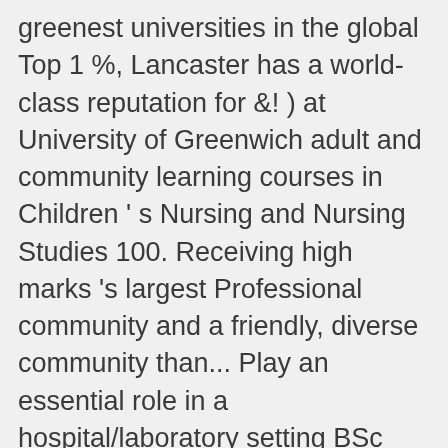greenest universities in the global Top 1 %, Lancaster has a world-class reputation for &! ) at University of Greenwich adult and community learning courses in Children ' s Nursing and Nursing Studies 100. Receiving high marks 's largest Professional community and a friendly, diverse community than... Play an essential role in a hospital/laboratory setting BSc Hons Sexual Health, Distance learning PGCE courses at University! Prepare students with the skills employers value and the skills they need to register an on! Modules to choose from 60 credits in an academic year life experiences and the confidence to achieve things. And the skills employers ' value & the confidence to achieve extraordinary things events.! Designed for students working in a hospital/laboratory setting many courses